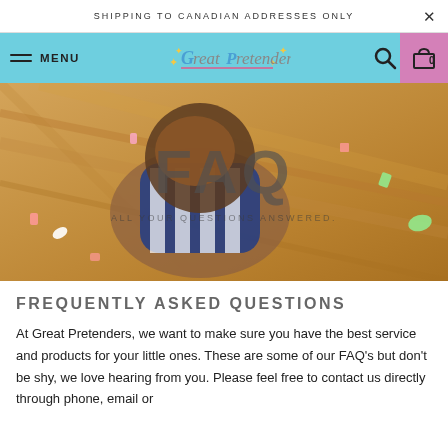SHIPPING TO CANADIAN ADDRESSES ONLY
[Figure (screenshot): Website navigation bar with hamburger menu, MENU text, Great Pretenders logo, search icon, and cart icon on teal/cyan background with purple cart area]
[Figure (photo): Photo of a young girl lying on a hardwood floor wearing a blue and white striped dress, with confetti scattered around her. Overlaid text reads 'FAQ' and 'ALL YOUR QUESTIONS ANSWERED.']
FREQUENTLY ASKED QUESTIONS
At Great Pretenders, we want to make sure you have the best service and products for your little ones. These are some of our FAQ's but don't be shy, we love hearing from you. Please feel free to contact us directly through phone, email or